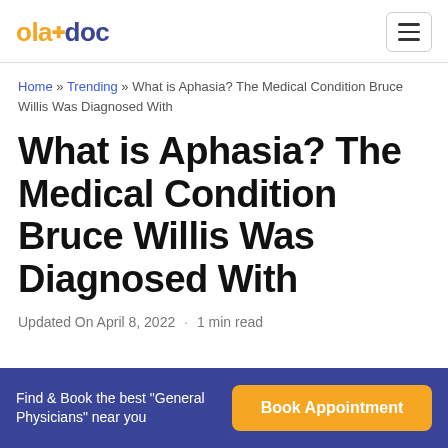oladoc
Home » Trending » What is Aphasia? The Medical Condition Bruce Willis Was Diagnosed With
What is Aphasia? The Medical Condition Bruce Willis Was Diagnosed With
Updated On April 8, 2022 · 1 min read
Find & Book the best "General Physicians" near you
Book Appointment